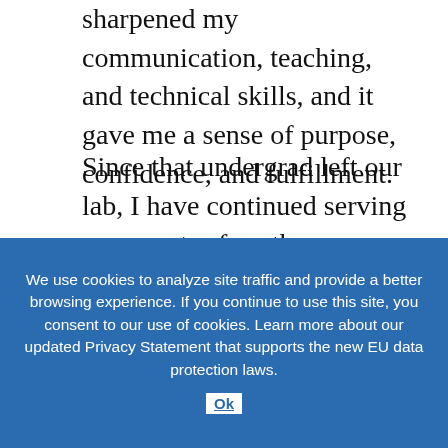sharpened my communication, teaching, and technical skills, and it gave me a sense of purpose, confidence, and fulfillment.
Since that undergrad left our lab, I have continued serving as a mentor for other students. Each relationship is enriching in its own way. Recently, for example, I learned how to support a mentee through failure. My current mentee and I had worked tirelessly to prepare for her university's undergraduate research competition, but she didn't win and was quite disappointed. I didn't want this one setback to extinguish her fire for research, so it helped her to put it in perspective. I took her out for dinner to celebrate her will to compete and the experience she had gained. And I told her about a recent disappointment of my own—losing a science communication competition—to show her that she was not alone.
We use cookies to analyze site traffic and provide a better browsing experience. If you continue to use this site, you consent to our use of cookies. Learn more about our updated Privacy Statement that supports the new EU data protection laws.